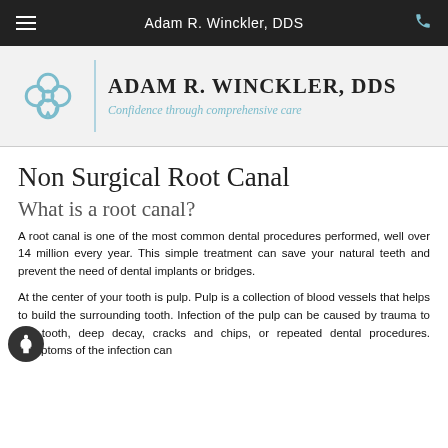Adam R. Winckler, DDS
[Figure (logo): Adam R. Winckler DDS logo with decorative tooth/fleur icon, tagline: Confidence through comprehensive care]
Non Surgical Root Canal
What is a root canal?
A root canal is one of the most common dental procedures performed, well over 14 million every year. This simple treatment can save your natural teeth and prevent the need of dental implants or bridges.
At the center of your tooth is pulp. Pulp is a collection of blood vessels that helps to build the surrounding tooth. Infection of the pulp can be caused by trauma to the tooth, deep decay, cracks and chips, or repeated dental procedures. Symptoms of the infection can